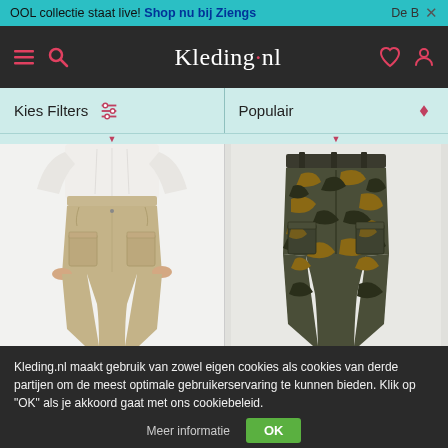OOL collectie staat live! Shop nu bij Ziengs   De B  ×
[Figure (screenshot): Kleding.nl website navigation bar with hamburger menu, search icon, logo, heart icon, and user icon on dark background]
Kies Filters   Populair
[Figure (photo): Man wearing khaki/beige cargo pants with white long-sleeve shirt, hands in pockets]
[Figure (photo): Camouflage cargo pants in dark green and brown pattern on light background]
Kleding.nl maakt gebruik van zowel eigen cookies als cookies van derde partijen om de meest optimale gebruikerservaring te kunnen bieden. Klik op "OK" als je akkoord gaat met ons cookiebeleid.
Meer informatie   OK